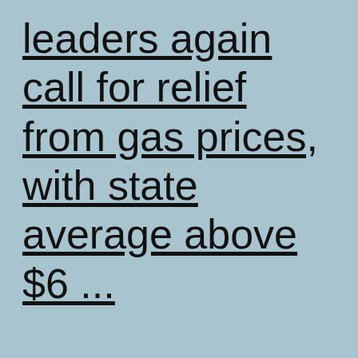leaders again call for relief from gas prices, with state average above $6 ...